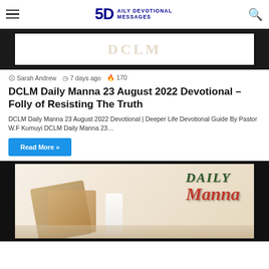5D Daily Devotional Messages
[Figure (screenshot): Top image area with dark border frame and DCLM watermark text in background]
Sarah Andrew  7 days ago  170
DCLM Daily Manna 23 August 2022 Devotional – Folly of Resisting The Truth
DCLM Daily Manna 23 August 2022 Devotional | Deeper Life Devotional Guide By Pastor W.F Kumuyi DCLM Daily Manna 23…
Read More »
[Figure (photo): Daily Manna devotional book image with crackers, milk glass and open Bible in background, with red and green 'Daily Manna' stylized text]